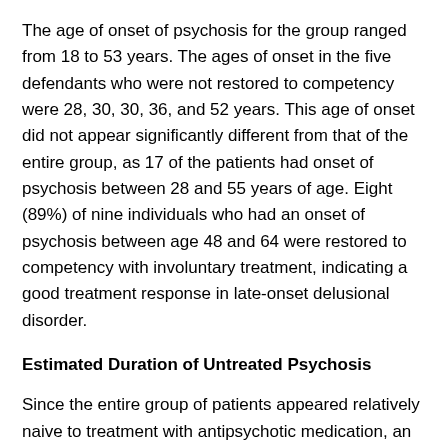The age of onset of psychosis for the group ranged from 18 to 53 years. The ages of onset in the five defendants who were not restored to competency were 28, 30, 30, 36, and 52 years. This age of onset did not appear significantly different from that of the entire group, as 17 of the patients had onset of psychosis between 28 and 55 years of age. Eight (89%) of nine individuals who had an onset of psychosis between age 48 and 64 were restored to competency with involuntary treatment, indicating a good treatment response in late-onset delusional disorder.
Estimated Duration of Untreated Psychosis
Since the entire group of patients appeared relatively naive to treatment with antipsychotic medication, an estimated duration of untreated psychosis (DUP) was calculated by subtracting the age of onset of psychotic symptoms from the age of admission to FMC Butner. This calculation was based on the assumption that the delusional symptoms were continuously present at some level